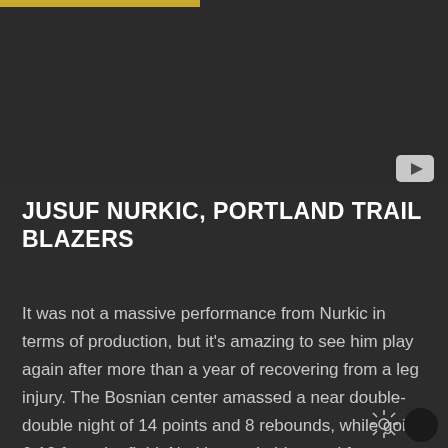[Figure (other): Dark video thumbnail area with a YouTube play button in the lower right corner and a gold bar at the top left]
JUSUF NURKIC, PORTLAND TRAIL BLAZERS
It was not a massive performance from Nurkic in terms of production, but it's amazing to see him play again after more than a year of recovering from a leg injury. The Bosnian center amassed a near double-double night of 14 points and 8 rebounds, while going 6-10 from the field. Nurkic was in his usual form,